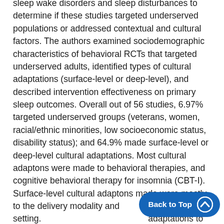sleep wake disorders and sleep disturbances to determine if these studies targeted underserved populations or addressed contextual and cultural factors. The authors examined sociodemographic characteristics of behavioral RCTs that targeted underserved adults, identified types of cultural adaptations (surface-level or deep-level), and described intervention effectiveness on primary sleep outcomes. Overall out of 56 studies, 6.97% targeted underserved groups (veterans, women, racial/ethnic minorities, low socioeconomic status, disability status); and 64.9% made surface-level or deep-level cultural adaptations. Most cultural adaptons were made to behavioral therapies, and cognitive behavioral therapy for insomnia (CBT-I). Surface-level cultural adaptons made were mostly to the delivery modality and setting. adaptations to the content and core intervention